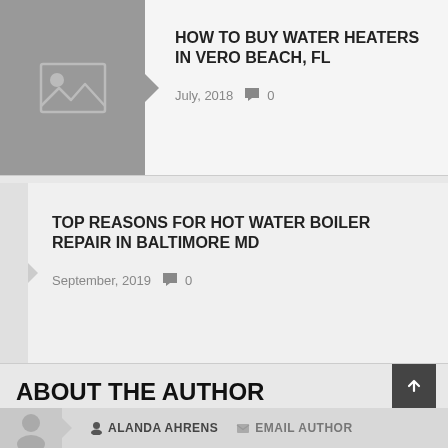HOW TO BUY WATER HEATERS IN VERO BEACH, FL
July, 2018  💬 0
TOP REASONS FOR HOT WATER BOILER REPAIR IN BALTIMORE MD
September, 2019  💬 0
ABOUT THE AUTHOR
👤 ALANDA AHRENS  ✉ EMAIL AUTHOR